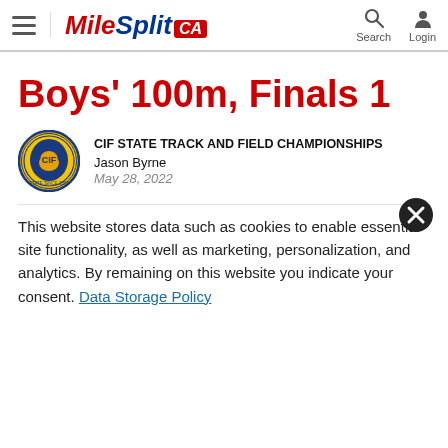MileSplit CA
Boys' 100m, Finals 1
CIF STATE TRACK AND FIELD CHAMPIONSHIPS
Jason Byrne
May 28, 2022
This website stores data such as cookies to enable essential site functionality, as well as marketing, personalization, and analytics. By remaining on this website you indicate your consent. Data Storage Policy